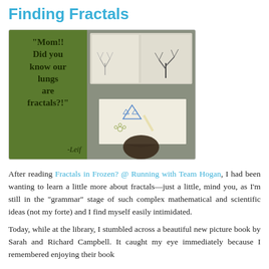Finding Fractals
[Figure (photo): Composite image: left panel is an olive-green quote card reading '"Mom!! Did you know our lungs are fractals?!" -Leif'; right panel is a photo of a child drawing fractals on paper with a book showing tree fractals open nearby.]
After reading Fractals in Frozen? @ Running with Team Hogan, I had been wanting to learn a little more about fractals—just a little, mind you, as I'm still in the "grammar" stage of such complex mathematical and scientific ideas (not my forte) and I find myself easily intimidated.
Today, while at the library, I stumbled across a beautiful new picture book by Sarah and Richard Campbell. It caught my eye immediately because I remembered enjoying their book